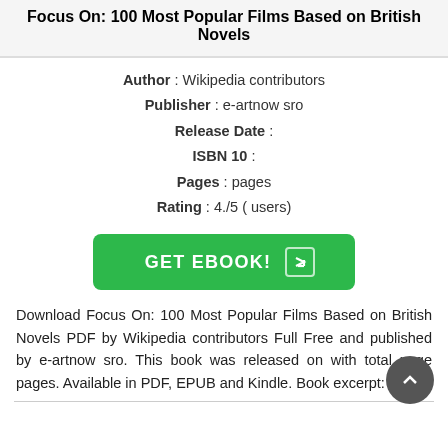Focus On: 100 Most Popular Films Based on British Novels
Author : Wikipedia contributors
Publisher : e-artnow sro
Release Date :
ISBN 10 :
Pages : pages
Rating : 4./5 ( users)
[Figure (other): Green GET EBOOK! button with arrow icon]
Download Focus On: 100 Most Popular Films Based on British Novels PDF by Wikipedia contributors Full Free and published by e-artnow sro. This book was released on with total page pages. Available in PDF, EPUB and Kindle. Book excerpt: